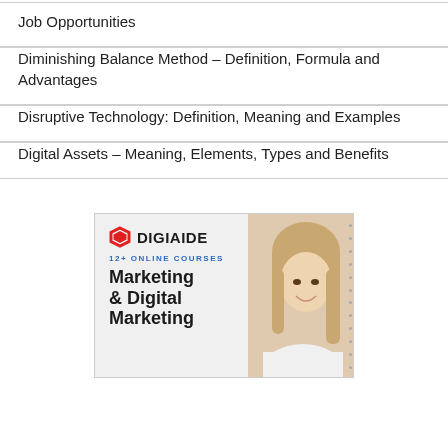Job Opportunities
Diminishing Balance Method – Definition, Formula and Advantages
Disruptive Technology: Definition, Meaning and Examples
Digital Assets – Meaning, Elements, Types and Benefits
[Figure (advertisement): DigiAide advertisement banner showing logo, '12+ ONLINE COURSES' text in blue, 'Marketing & Digital Marketing' heading in bold, and a photo of a smiling blonde woman in white shirt on the right side.]